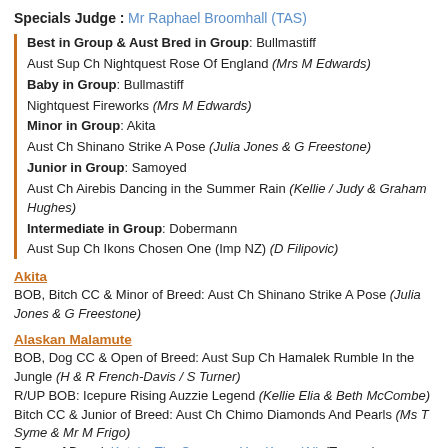Specials Judge : Mr Raphael Broomhall (TAS)
Best in Group & Aust Bred in Group: Bullmastiff
Aust Sup Ch Nightquest Rose Of England (Mrs M Edwards)
Baby in Group: Bullmastiff
Nightquest Fireworks (Mrs M Edwards)
Minor in Group: Akita
Aust Ch Shinano Strike A Pose (Julia Jones & G Freestone)
Junior in Group: Samoyed
Aust Ch Airebis Dancing in the Summer Rain (Kellie / Judy & Graham Hughes)
Intermediate in Group: Dobermann
Aust Sup Ch Ikons Chosen One (Imp NZ) (D Filipovic)
Akita
BOB, Bitch CC & Minor of Breed: Aust Ch Shinano Strike A Pose (Julia Jones & G Freestone)
Alaskan Malamute
BOB, Dog CC & Open of Breed: Aust Sup Ch Hamalek Rumble In the Jungle (H & R French-Davis / S Turner)
R/UP BOB: Icepure Rising Auzzie Legend (Kellie Elia & Beth McCombe)
Bitch CC & Junior of Breed: Aust Ch Chimo Diamonds And Pearls (Ms T Syme & Mr M Frigo)
Puppy of Breed: Kataku The Company You Keep (AI) (Turner / Glasheen)